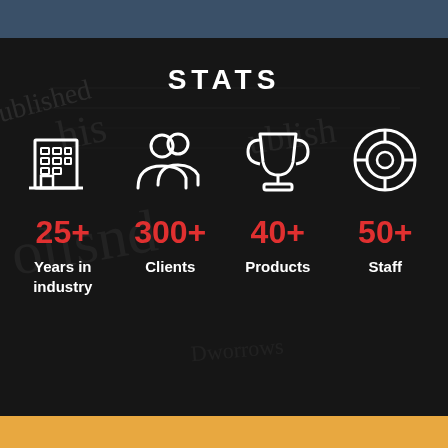STATS
[Figure (infographic): Four stat icons with numbers: building icon (25+ Years in industry), people/clients icon (300+ Clients), trophy icon (40+ Products), circular badge icon (50+ Staff), displayed on a dark newspaper background]
25+
Years in industry
300+
Clients
40+
Products
50+
Staff